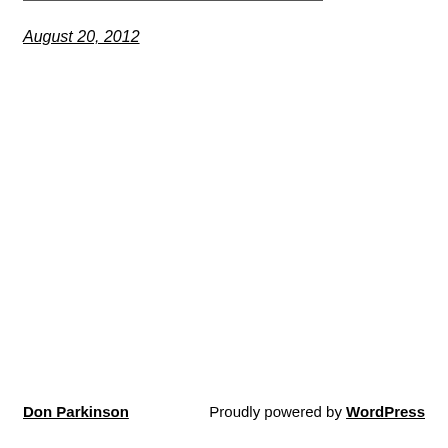August 20, 2012
Don Parkinson   Proudly powered by WordPress